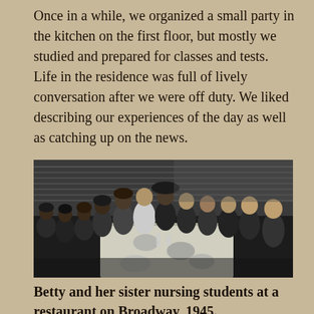Once in a while, we organized a small party in the kitchen on the first floor, but mostly we studied and prepared for classes and tests. Life in the residence was full of lively conversation after we were off duty. We liked describing our experiences of the day as well as catching up on the news.
[Figure (photo): Black and white photograph of a group of women (Betty and her sister nursing students) seated around a long dining table at a restaurant, dressed in dark and light clothing, ca. 1945.]
Betty and her sister nursing students at a restaurant on Broadway, 1945.